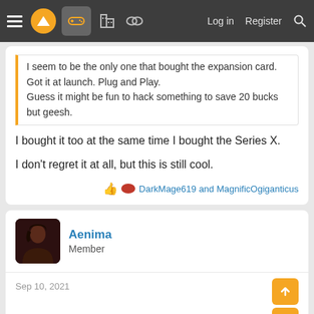Navigation bar with logo, gamepad icon, forum icons, Log in, Register, Search
I seem to be the only one that bought the expansion card.
Got it at launch. Plug and Play.
Guess it might be fun to hack something to save 20 bucks but geesh.
I bought it too at the same time I bought the Series X.
I don't regret it at all, but this is still cool.
DarkMage619 and MagnificOgiganticus
Aenima
Member
Sep 10, 2021
Do u need a screwdriver to convert it? I heard is a big deal to use one.